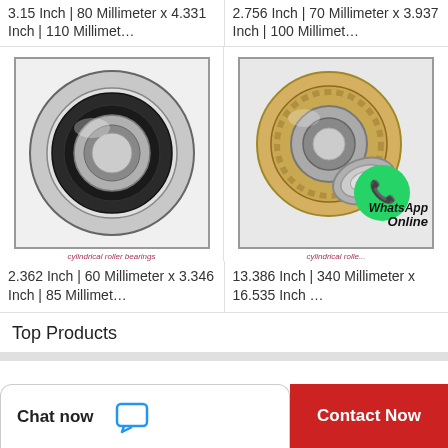3.15 Inch | 80 Millimeter x 4.331 Inch | 110 Millimet…
2.756 Inch | 70 Millimeter x 3.937 Inch | 100 Millimet…
[Figure (photo): Cylindrical roller bearing, single, silver/gray metallic, front-face view showing inner and outer races with seals]
cylindrical roller bearings
[Figure (photo): Cylindrical roller bearing with brass cage, showing separated inner race and outer assembly, with WhatsApp Online overlay badge]
cylindrical roller bearings
2.362 Inch | 60 Millimeter x 3.346 Inch | 85 Millimet…
13.386 Inch | 340 Millimeter x 16.535 Inch …
Top Products
Chat now
Contact Now